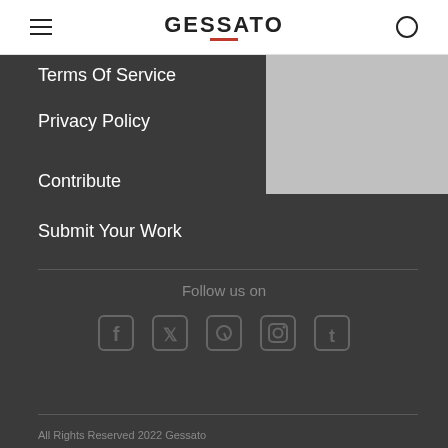GESSATO
Terms Of Service
Privacy Policy
Contribute
Submit Your Work
Follow us on
[Figure (other): Social media icons: Facebook, Twitter, Pinterest, Instagram, Tumblr]
All Rights Reserved 2022 Gessato
– Made with ♥ in NYC